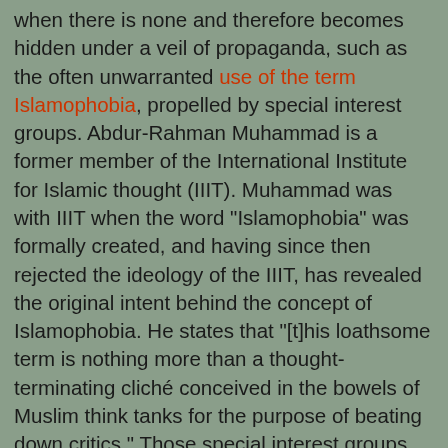when there is none and therefore becomes hidden under a veil of propaganda, such as the often unwarranted use of the term Islamophobia, propelled by special interest groups. Abdur-Rahman Muhammad is a former member of the International Institute for Islamic thought (IIIT). Muhammad was with IIIT when the word "Islamophobia" was formally created, and having since then rejected the ideology of the IIIT, has revealed the original intent behind the concept of Islamophobia. He states that "[t]his loathsome term is nothing more than a thought-terminating cliché conceived in the bowels of Muslim think tanks for the purpose of beating down critics." Those special interest groups (and their followers) that "beat down critics" fail, however, to decry worse forms of discrimination, racism and abuse that are found in their own cultures of origin. These include race-based slavery, the subjugation of women, honor killings, physical punishments for disobedience and female genital mutilation. This has led activists for equality and human rights such as Irshad Manji, a Muslim, to declare that multiculturalism needs to be abandoned. She states rightly that "the vast majority of the world's known cultures are patriarchal," where the "desires and dreams of men outweigh those of women." This circumstance, she continues, means